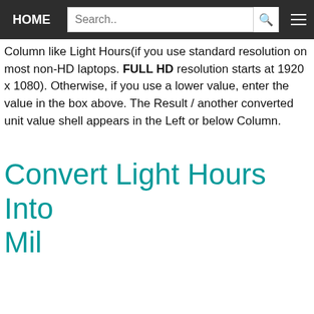HOME | Search.. | Menu
Column like Light Hours(if you use standard resolution on most non-HD laptops. FULL HD resolution starts at 1920 x 1080). Otherwise, if you use a lower value, enter the value in the box above. The Result / another converted unit value shell appears in the Left or below Column.
Convert Light Hours Into Mil